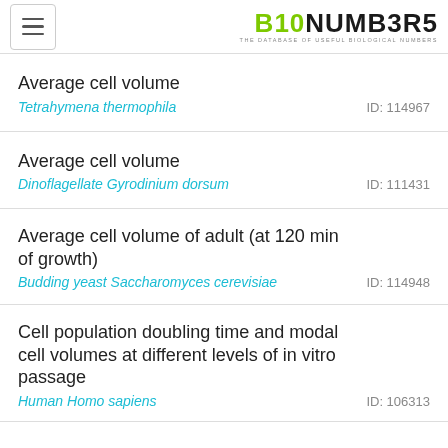B10NUMB3R5 — THE DATABASE OF USEFUL BIOLOGICAL NUMBERS
Average cell volume | Tetrahymena thermophila | ID: 114967
Average cell volume | Dinoflagellate Gyrodinium dorsum | ID: 111431
Average cell volume of adult (at 120 min of growth) | Budding yeast Saccharomyces cerevisiae | ID: 114948
Cell population doubling time and modal cell volumes at different levels of in vitro passage | Human Homo sapiens | ID: 106313